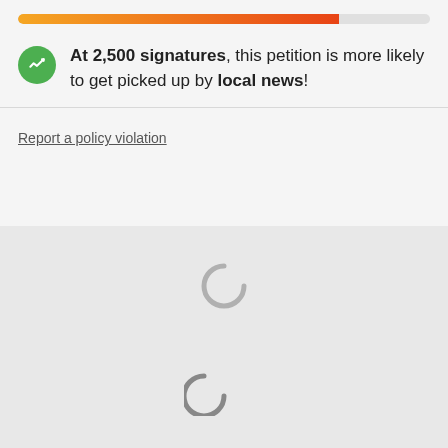[Figure (infographic): Progress bar with gradient from orange to dark red, approximately 78% filled]
At 2,500 signatures, this petition is more likely to get picked up by local news!
Report a policy violation
[Figure (infographic): Loading spinner graphic showing two circular arcs in gray]
COMPANY
COMMUNITY
About
Blog
Impact
Press